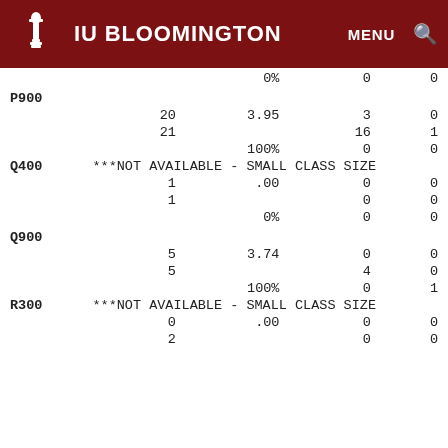IU BLOOMINGTON   MENU  🔍
|  |  |  |  |  |  |
| --- | --- | --- | --- | --- | --- |
|  |  |  | 0% | 0 | 0 |
| P900 |  |  |  |  |  |
|  | 20 | 3.95 |  | 3 | 0 |
|  | 21 |  |  | 16 | 1 |
|  |  |  | 100% | 0 | 0 |
| Q400 | ***NOT AVAILABLE - SMALL CLASS SIZE |  |  |  |  |
|  | 1 | .00 |  | 0 | 0 |
|  | 1 |  |  | 0 | 0 |
|  |  |  | 0% | 0 | 0 |
| Q900 |  |  |  |  |  |
|  | 5 | 3.74 |  | 0 | 0 |
|  | 5 |  |  | 4 | 0 |
|  |  |  | 100% | 0 | 1 |
| R300 | ***NOT AVAILABLE - SMALL CLASS SIZE |  |  |  |  |
|  | 0 | .00 |  | 0 | 0 |
|  | 2 |  |  | 0 | 0 |